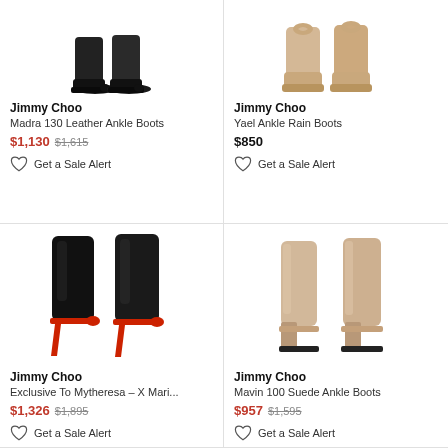[Figure (photo): Black leather ankle boots with lug sole (Jimmy Choo Madra 130)]
Jimmy Choo
Madra 130 Leather Ankle Boots
$1,130 $1,615
Get a Sale Alert
[Figure (photo): Beige chunky lug-sole ankle boots with bow detail (Jimmy Choo Yael)]
Jimmy Choo
Yael Ankle Rain Boots
$850
Get a Sale Alert
[Figure (photo): Black patent leather stiletto ankle boots with red sole and trim (Jimmy Choo Exclusive To Mytheresa)]
Jimmy Choo
Exclusive To Mytheresa – X Mari...
$1,326 $1,895
Get a Sale Alert
[Figure (photo): Beige suede block heel ankle boots (Jimmy Choo Mavin 100)]
Jimmy Choo
Mavin 100 Suede Ankle Boots
$957 $1,595
Get a Sale Alert